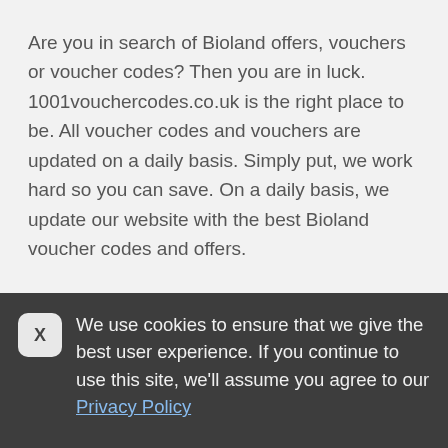Are you in search of Bioland offers, vouchers or voucher codes? Then you are in luck. 1001vouchercodes.co.uk is the right place to be. All voucher codes and vouchers are updated on a daily basis. Simply put, we work hard so you can save. On a daily basis, we update our website with the best Bioland voucher codes and offers.
To get started, browse to the top of this page and there you will see the updated list of voucher codes, vouchers, discounts and offers currently available at Bioland.
This listing was last updated on 22 August 2022 .
We use cookies to ensure that we give the best user experience. If you continue to use this site, we'll assume you agree to our Privacy Policy